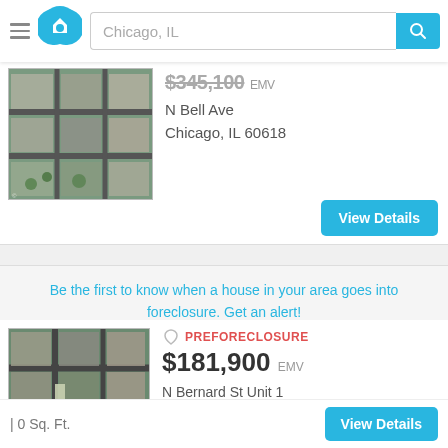Chicago, IL
[Figure (photo): Aerial satellite view of residential neighborhood near N Bell Ave Chicago IL 60618]
$345,100 EMV
N Bell Ave
Chicago, IL 60618
View Details
Be the first to know when a house in your area goes into foreclosure. Get an alert!
[Figure (photo): Aerial satellite view of residential neighborhood near N Bernard St Chicago IL 60618]
PREFORECLOSURE
$181,900 EMV
N Bernard St Unit 1
Chicago, IL 60618
| 0 Sq. Ft.
View Details